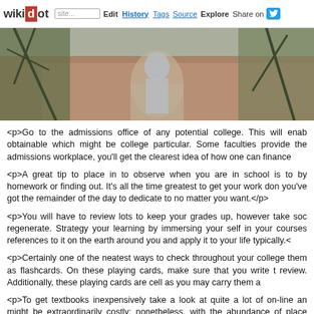wikidot | site Edit History Tags Source Explore Share on [twitter]
[Figure (photo): Outdoor campus photo showing trees with bare branches against a brick wall with an arched doorway or window, grey wintry scene]
<p>Go to the admissions office of any potential college. This will enable obtainable which might be college particular. Some faculties provide the admissions workplace, you'll get the clearest idea of how one can finance
<p>A great tip to place in to observe when you are in school is to by homework or finding out. It's all the time greatest to get your work don you've got the remainder of the day to dedicate to no matter you want.</p>
<p>You will have to review lots to keep your grades up, however take soc regenerate. Strategy your learning by immersing your self in your courses references to it on the earth around you and apply it to your life typically.<
<p>Certainly one of the neatest ways to check throughout your college them as flashcards. On these playing cards, make sure that you write t review. Additionally, these playing cards are cell as you may carry them a
<p>To get textbooks inexpensively take a look at quite a lot of on-line an might be extraordinarily costly; nonetheless, with the abundance of place you'll be able to keep inside your budget. The college bookstore additi prevent money.</p>
<p> Need Solid Recommendation On School? Discover It Right here ma faculty earlier than you to to university. Getting ready In your College Kee